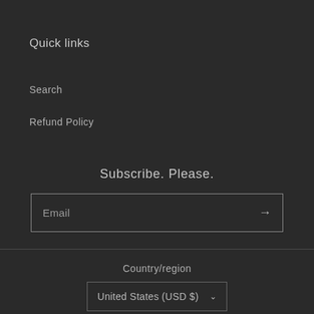Quick links
Search
Refund Policy
Subscribe. Please.
Email
Country/region
United States (USD $)